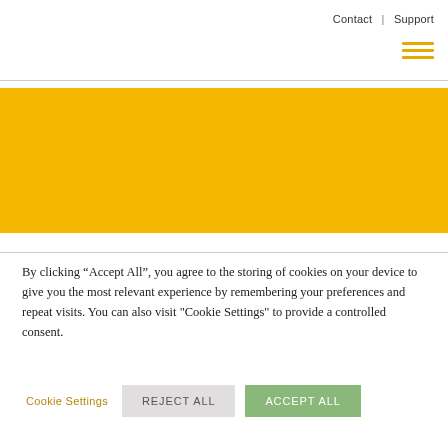Contact | Support
[Figure (other): Hamburger menu icon with three horizontal yellow lines]
[Figure (other): Yellow/gold banner background bar]
By clicking “Accept All”, you agree to the storing of cookies on your device to give you the most relevant experience by remembering your preferences and repeat visits. You can also visit "Cookie Settings" to provide a controlled consent.
Cookie Settings   REJECT ALL   ACCEPT ALL